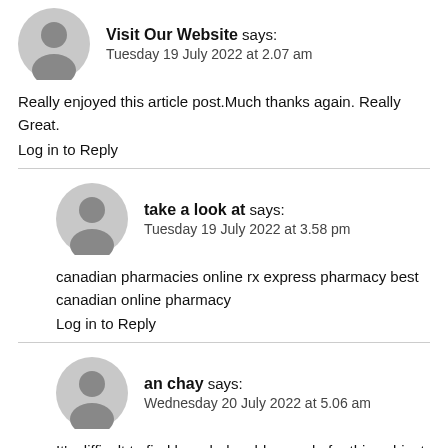[Figure (illustration): Gray default avatar icon (silhouette of a person)]
Visit Our Website says:
Tuesday 19 July 2022 at 2.07 am
Really enjoyed this article post.Much thanks again. Really Great.
Log in to Reply
[Figure (illustration): Gray default avatar icon (silhouette of a person)]
take a look at says:
Tuesday 19 July 2022 at 3.58 pm
canadian pharmacies online rx express pharmacy best canadian online pharmacy
Log in to Reply
[Figure (illustration): Gray default avatar icon (silhouette of a person)]
an chay says:
Wednesday 20 July 2022 at 5.06 am
It's difficult to find knowledgeable people for this subject